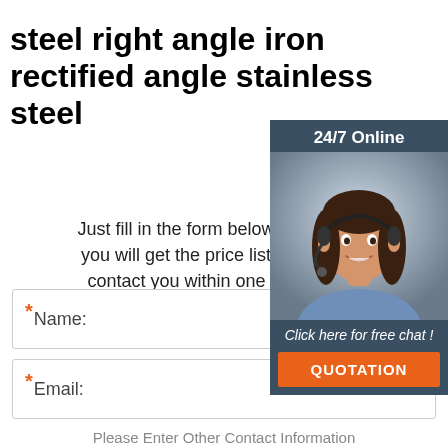steel right angle iron rectified angle stainless steel
Just fill in the form below, click submit, you will get the price list, and we will contact you within one working day. Please also feel free to contact us via email or phone. (* is required)
[Figure (illustration): Customer support chat widget with 24/7 Online label, photo of a woman with headset, 'Click here for free chat!' text, and QUOTATION button]
* Name:
* Email:
Please Enter Other Contact Information